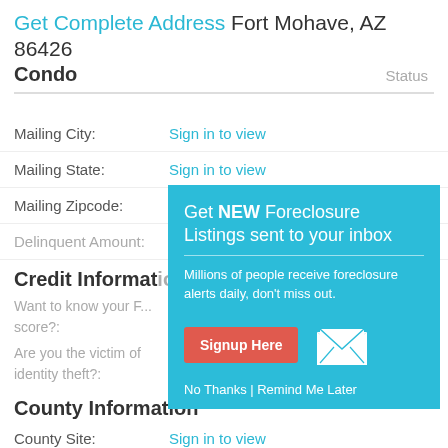Get Complete Address Fort Mohave, AZ 86426
Condo
Status
Mailing City: Sign in to view
Mailing State: Sign in to view
Mailing Zipcode: Sign in to view
Delinquent Amount:
Credit Information
Want to know your F... score?:
Are you the victim of identity theft?:
[Figure (infographic): Popup modal on teal/cyan background promoting foreclosure listings signup. Contains title 'Get NEW Foreclosure Listings sent to your inbox', description text 'Millions of people receive foreclosure alerts daily, don’t miss out.', a red 'Signup Here' button, a white envelope icon, and footer links 'No Thanks | Remind Me Later'.]
County Information
County Site: Sign in to view